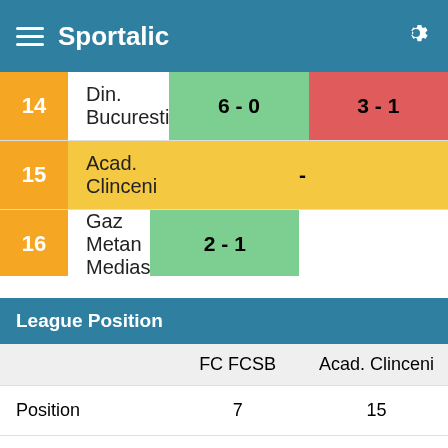Sportalic
| # | Team | Score1 | Score2 |
| --- | --- | --- | --- |
| 14 | Din. Bucuresti | 6 - 0 | 3 - 1 |
| 15 | Acad. Clinceni |  | - |
| 16 | Gaz Metan Medias | 2 - 1 |  |
|  | FC FCSB | Acad. Clinceni |
| --- | --- | --- |
| Position | 7 | 15 |
| Points | 15 | 2 |
|  | Home | Away |
| --- | --- | --- |
| Position | 4 | 15 |